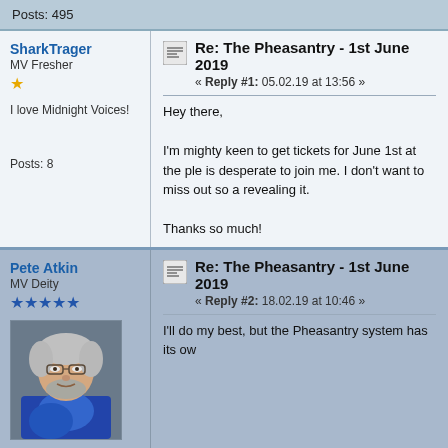Posts: 495
SharkTrager
MV Fresher
★
I love Midnight Voices!
Posts: 8
Re: The Pheasantry - 1st June 2019
« Reply #1: 05.02.19 at 13:56 »
Hey there,

I'm mighty keen to get tickets for June 1st at the ple is desperate to join me. I don't want to miss out so a revealing it.

Thanks so much!
Pete Atkin
MV Deity
★★★★★
Re: The Pheasantry - 1st June 2019
« Reply #2: 18.02.19 at 10:46 »
I'll do my best, but the Pheasantry system has its ow